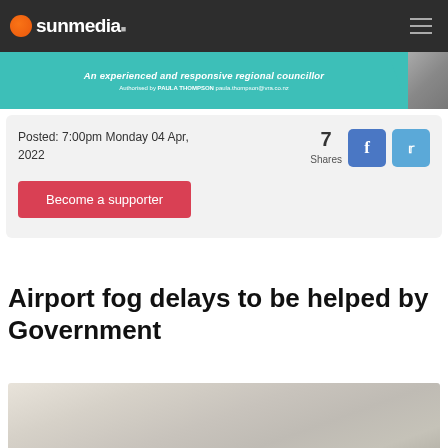sunmedia
[Figure (photo): Political campaign advertisement banner in teal/turquoise color with italic bold white text and a person photo on the right edge. Text reads: 'An experienced and responsive regional councillor' Authorised by PAULA THOMPSON paula.thompson@vra.co.nz]
Posted: 7:00pm Monday 04 Apr, 2022
7 Shares
Become a supporter
Airport fog delays to be helped by Government
[Figure (photo): Foggy outdoor scene, very hazy and pale, low visibility conditions]